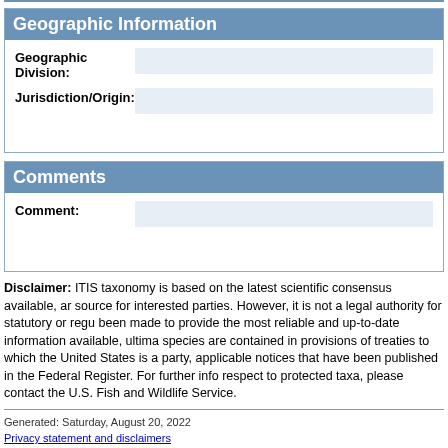Geographic Information
| Geographic Division: |  |
| Jurisdiction/Origin: |  |
Comments
| Comment: |  |
Disclaimer: ITIS taxonomy is based on the latest scientific consensus available, and is provided as a general reference source for interested parties. However, it is not a legal authority for statutory or regulatory purposes. While every effort has been made to provide the most reliable and up-to-date information available, ultimate legal requirements with respect to species are contained in provisions of treaties to which the United States is a party, wildlife statutes, regulations, and applicable notices that have been published in the Federal Register. For further information on U.S. legal requirements with respect to protected taxa, please contact the U.S. Fish and Wildlife Service.
Generated: Saturday, August 20, 2022
Privacy statement and disclaimers
How to cite ITIS
https://itis.gov/servlet/SingleRpt/SingleRpt?search_topic=TSN&search_value=645273&print_version=PRT&source=to_print#null/